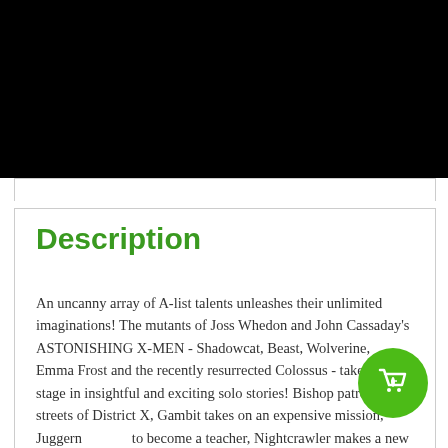[Figure (screenshot): E-commerce website header with logo, search bar, cart icon with badge showing 0, user profile icon, and hamburger menu on black background]
Description
An uncanny array of A-list talents unleashes their unlimited imaginations! The mutants of Joss Whedon and John Cassaday's ASTONISHING X-MEN - Shadowcat, Beast, Wolverine, Emma Frost and the recently resurrected Colossus - take center stage in insightful and exciting solo stories! Bishop patrols the streets of District X, Gambit takes on an expensive mission, Juggernaut tries to become a teacher, Nightcrawler makes a new friend, Angel puts his business skills to the test, Iceman debates retiring from heroism, Cannonball and Sunspot try to get dates – and the astonishing X-